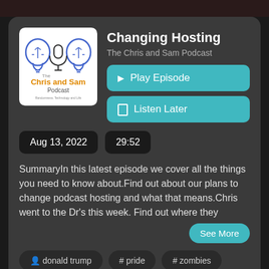[Figure (logo): The Chris and Sam Podcast logo with two lightbulb heads and a microphone, blue and orange text]
Changing Hosting
The Chris and Sam Podcast
▶ Play Episode
🔖 Listen Later
Aug 13, 2022
29:52
SummaryIn this latest episode we cover all the things you need to know about.Find out about our plans to change podcast hosting and what that means.Chris went to the Dr's this week. Find out where they
See More
👤 donald trump
# pride
# zombies